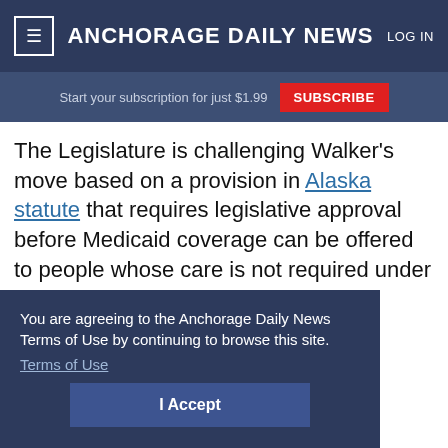≡  ANCHORAGE DAILY NEWS  LOG IN
Start your subscription for just $1.99  SUBSCRIBE
The Legislature is challenging Walker's move based on a provision in Alaska statute that requires legislative approval before Medicaid coverage can be offered to people whose care is not required under federal law.
You are agreeing to the Anchorage Daily News Terms of Use by continuing to browse this site.
Terms of Use
I Accept